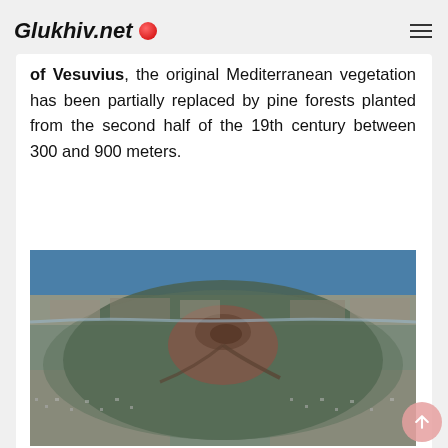Glukhiv.net
of Vesuvius, the original Mediterranean vegetation has been partially replaced by pine forests planted from the second half of the 19th century between 300 and 900 meters.
[Figure (photo): Aerial/satellite photograph of Mount Vesuvius and the surrounding urban area of Naples, Italy, showing the volcanic cone with its crater surrounded by dense urban settlement and coastal areas.]